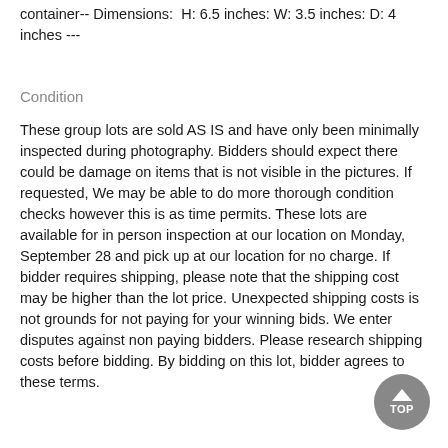container-- Dimensions:  H: 6.5 inches: W: 3.5 inches: D: 4 inches ---
Condition
These group lots are sold AS IS and have only been minimally inspected during photography. Bidders should expect there could be damage on items that is not visible in the pictures. If requested, We may be able to do more thorough condition checks however this is as time permits. These lots are available for in person inspection at our location on Monday, September 28 and pick up at our location for no charge. If bidder requires shipping, please note that the shipping cost may be higher than the lot price. Unexpected shipping costs is not grounds for not paying for your winning bids. We enter disputes against non paying bidders. Please research shipping costs before bidding. By bidding on this lot, bidder agrees to these terms.